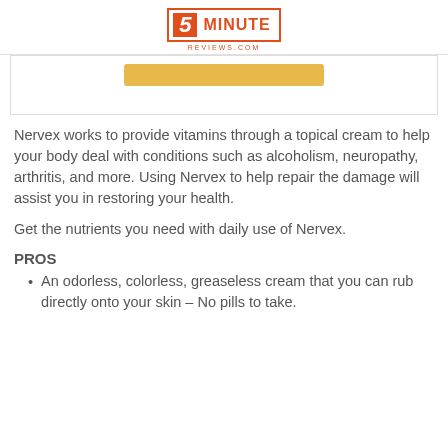5 MINUTE REVIEWS.COM
[Figure (other): Partial product image with a yellow/gold button visible at top]
Nervex works to provide vitamins through a topical cream to help your body deal with conditions such as alcoholism, neuropathy, arthritis, and more. Using Nervex to help repair the damage will assist you in restoring your health.
Get the nutrients you need with daily use of Nervex.
PROS
An odorless, colorless, greaseless cream that you can rub directly onto your skin – No pills to take.